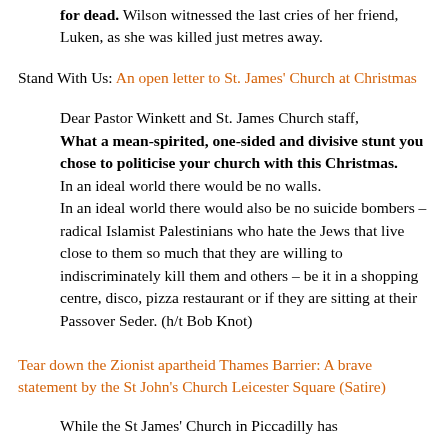for dead. Wilson witnessed the last cries of her friend, Luken, as she was killed just metres away.
Stand With Us: An open letter to St. James' Church at Christmas
Dear Pastor Winkett and St. James Church staff, What a mean-spirited, one-sided and divisive stunt you chose to politicise your church with this Christmas. In an ideal world there would be no walls. In an ideal world there would also be no suicide bombers – radical Islamist Palestinians who hate the Jews that live close to them so much that they are willing to indiscriminately kill them and others – be it in a shopping centre, disco, pizza restaurant or if they are sitting at their Passover Seder. (h/t Bob Knot)
Tear down the Zionist apartheid Thames Barrier: A brave statement by the St John's Church Leicester Square (Satire)
While the St James' Church in Piccadilly has